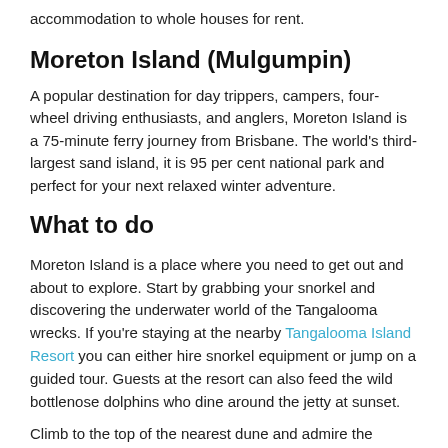accommodation to whole houses for rent.
Moreton Island (Mulgumpin)
A popular destination for day trippers, campers, four-wheel driving enthusiasts, and anglers, Moreton Island is a 75-minute ferry journey from Brisbane. The world’s third-largest sand island, it is 95 per cent national park and perfect for your next relaxed winter adventure.
What to do
Moreton Island is a place where you need to get out and about to explore. Start by grabbing your snorkel and discovering the underwater world of the Tangalooma wrecks. If you’re staying at the nearby Tangalooma Island Resort you can either hire snorkel equipment or jump on a guided tour. Guests at the resort can also feed the wild bottlenose dolphins who dine around the jetty at sunset.
Climb to the top of the nearest dune and admire the